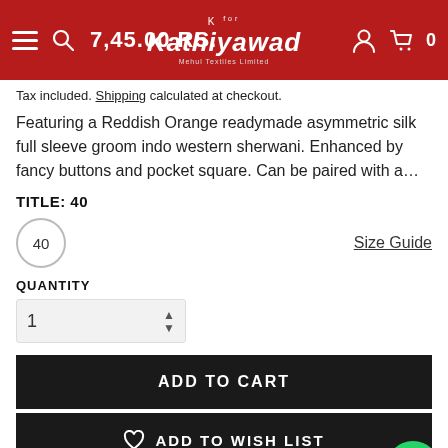K for Kathiyawad — navigation header with price 7,45.00 RS.
Tax included. Shipping calculated at checkout.
Featuring a Reddish Orange readymade asymmetric silk full sleeve groom indo western sherwani. Enhanced by fancy buttons and pocket square. Can be paired with a...
TITLE: 40
40  Size Guide
QUANTITY
1
ADD TO CART
ADD TO WISH LIST
BUY IT NOW